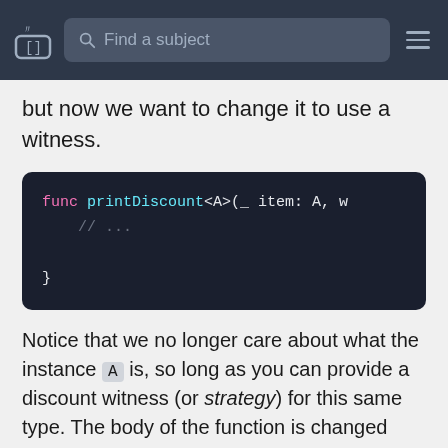Find a subject
but now we want to change it to use a witness.
[Figure (screenshot): Code block showing: func printDiscount<A>(_ item: A, w
    // ...
}]
Notice that we no longer care about what the instance A is, so long as you can provide a discount witness (or strategy) for this same type. The body of the function is changed only slightly, this type calling the